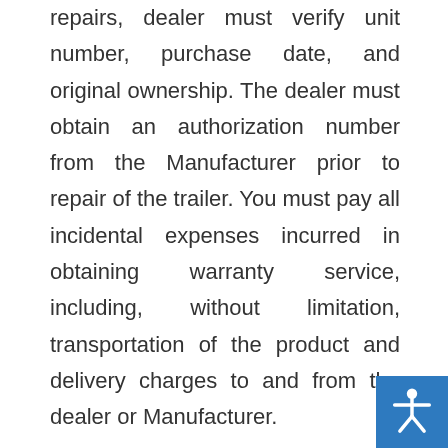repairs, dealer must verify unit number, purchase date, and original ownership. The dealer must obtain an authorization number from the Manufacturer prior to repair of the trailer. You must pay all incidental expenses incurred in obtaining warranty service, including, without limitation, transportation of the product and delivery charges to and from the dealer or Manufacturer.
If the product is found to be defective in materials or workmanship, all repairs must be performed by the Manufacturer or an authorized repair center. All warranty work performed must be pre-approved by